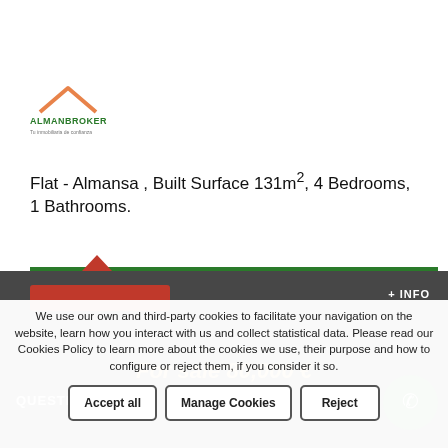[Figure (logo): Almanbroker real estate logo with orange roof/arrow icon above text ALMANBROKER and tagline below]
Flat - Almansa , Built Surface 131m², 4 Bedrooms, 1 Bathrooms.
+ INFO
For sale 80,000 €
QUESTION?
We use our own and third-party cookies to facilitate your navigation on the website, learn how you interact with us and collect statistical data. Please read our Cookies Policy to learn more about the cookies we use, their purpose and how to configure or reject them, if you consider it so.
Accept all
Manage Cookies
Reject